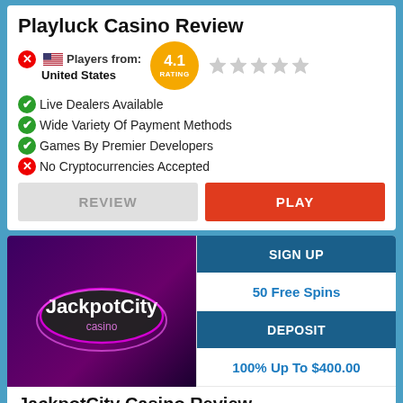Playluck Casino Review
Players from: United States | Rating: 4.1
Live Dealers Available
Wide Variety Of Payment Methods
Games By Premier Developers
No Cryptocurrencies Accepted
REVIEW | PLAY
[Figure (logo): JackpotCity Casino logo on dark purple background]
SIGN UP | 50 Free Spins | DEPOSIT | 100% Up To $400.00
JackpotCity Casino Review